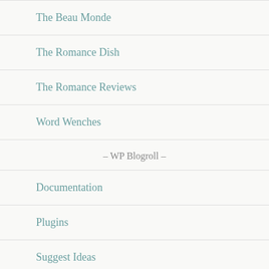The Beau Monde
The Romance Dish
The Romance Reviews
Word Wenches
– WP Blogroll –
Documentation
Plugins
Suggest Ideas